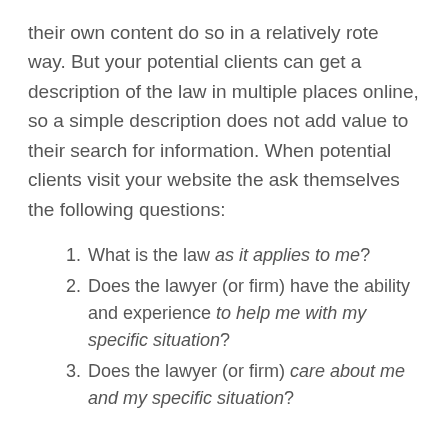their own content do so in a relatively rote way. But your potential clients can get a description of the law in multiple places online, so a simple description does not add value to their search for information. When potential clients visit your website the ask themselves the following questions:
What is the law as it applies to me?
Does the lawyer (or firm) have the ability and experience to help me with my specific situation?
Does the lawyer (or firm) care about me and my specific situation?